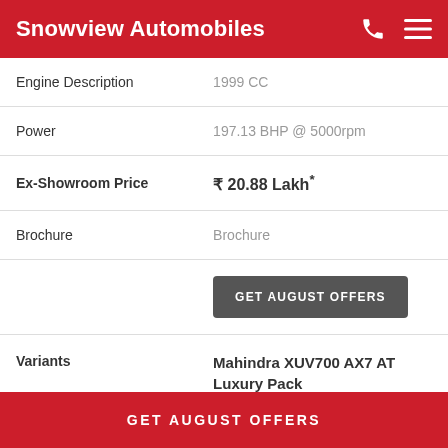Snowview Automobiles
| Label | Value |
| --- | --- |
| Engine Description | 1999 CC |
| Power | 197.13 BHP @ 5000rpm |
| Ex-Showroom Price | ₹ 20.88 Lakh* |
| Brochure | Brochure |
|  | GET AUGUST OFFERS |
| Variants | Mahindra XUV700 AX7 AT Luxury Pack | Petrol |
GET AUGUST OFFERS